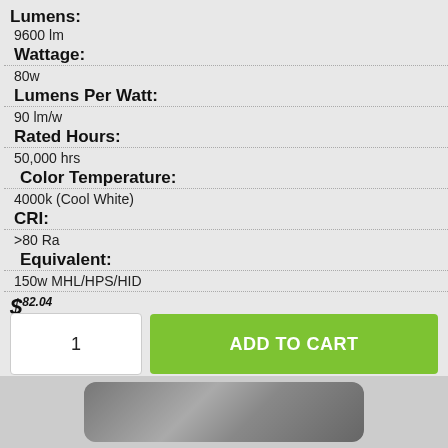Lumens:
9600 lm
Wattage:
80w
Lumens Per Watt:
90 lm/w
Rated Hours:
50,000 hrs
Color Temperature:
4000k (Cool White)
CRI:
>80 Ra
Equivalent:
150w MHL/HPS/HID
$82.04
1
ADD TO CART
[Figure (photo): Product photo of an LED light fixture, dark metallic enclosure with rounded edges]